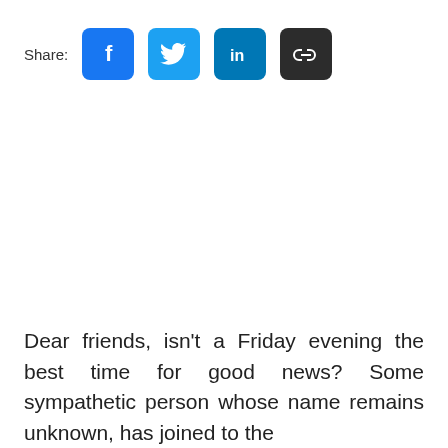[Figure (other): Share bar with social media buttons: Facebook, Twitter, LinkedIn, and a link/chain icon button]
Dear friends, isn't a Friday evening the best time for good news? Some sympathetic person whose name remains unknown, has joined to the